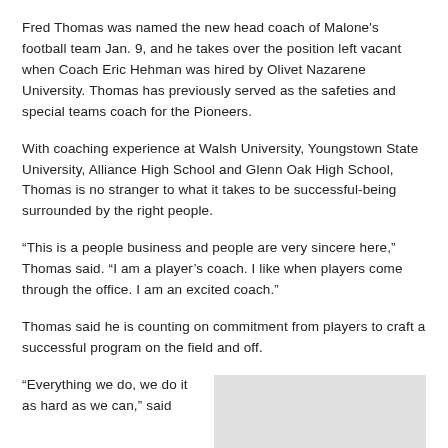Fred Thomas was named the new head coach of Malone's football team Jan. 9, and he takes over the position left vacant when Coach Eric Hehman was hired by Olivet Nazarene University. Thomas has previously served as the safeties and special teams coach for the Pioneers.
With coaching experience at Walsh University, Youngstown State University, Alliance High School and Glenn Oak High School, Thomas is no stranger to what it takes to be successful-being surrounded by the right people.
“This is a people business and people are very sincere here,” Thomas said. “I am a player’s coach. I like when players come through the office. I am an excited coach.”
Thomas said he is counting on commitment from players to craft a successful program on the field and off.
“Everything we do, we do it as hard as we can,” said
[Figure (photo): A photo placeholder with light gray background]